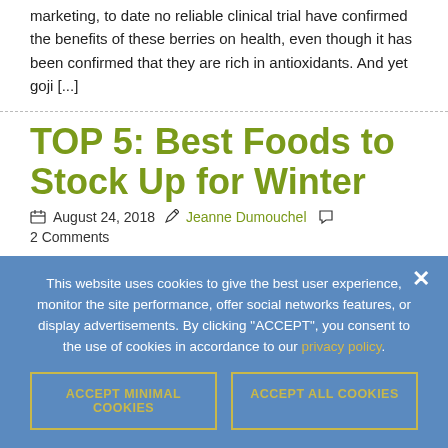marketing, to date no reliable clinical trial have confirmed the benefits of these berries on health, even though it has been confirmed that they are rich in antioxidants. And yet goji [...]
TOP 5: Best Foods to Stock Up for Winter
August 24, 2018  Jeanne Dumouchel  2 Comments
At the end of the summer, it's time to bring home large
This website uses cookies to give the best user experience, monitor the site performance, offer social networks features, or display advertisements. By clicking "ACCEPT", you consent to the use of cookies in accordance to our privacy policy.
ACCEPT MINIMAL COOKIES
ACCEPT ALL COOKIES